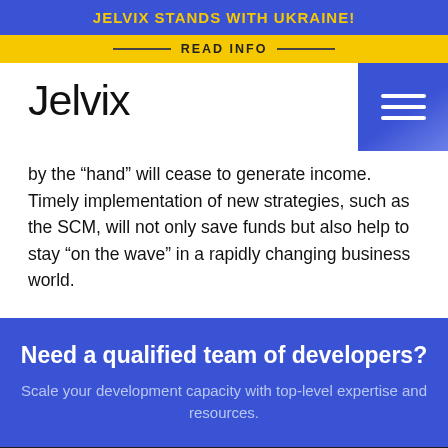JELVIX STANDS WITH UKRAINE!
READ INFO
[Figure (logo): Jelvix logo in light-weight font, with hamburger menu icon in blue on the right]
by the “hand” will cease to generate income. Timely implementation of new strategies, such as the SCM, will not only save funds but also help to stay “on the wave” in a rapidly changing business world.
Need a qualified team of developers?
Scale your development capacity with top-level expertise and resources.
We use cookies to ensure you get the best experience. By using our website you agree to our Cookies Policy